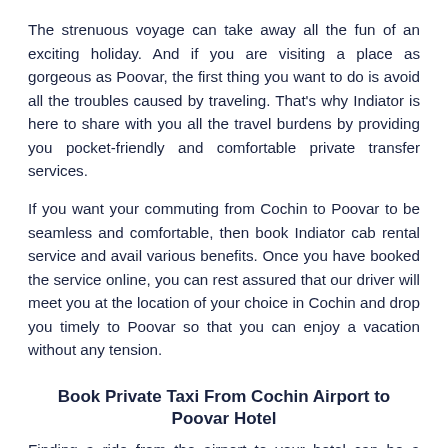The strenuous voyage can take away all the fun of an exciting holiday. And if you are visiting a place as gorgeous as Poovar, the first thing you want to do is avoid all the troubles caused by traveling. That's why Indiator is here to share with you all the travel burdens by providing you pocket-friendly and comfortable private transfer services.
If you want your commuting from Cochin to Poovar to be seamless and comfortable, then book Indiator cab rental service and avail various benefits. Once you have booked the service online, you can rest assured that our driver will meet you at the location of your choice in Cochin and drop you timely to Poovar so that you can enjoy a vacation without any tension.
Book Private Taxi From Cochin Airport to Poovar Hotel
Finding a ride from the airport to your hotel can be a troublesome task when you are in an unfamiliar city. That's why Indiator is here to help. Once you have